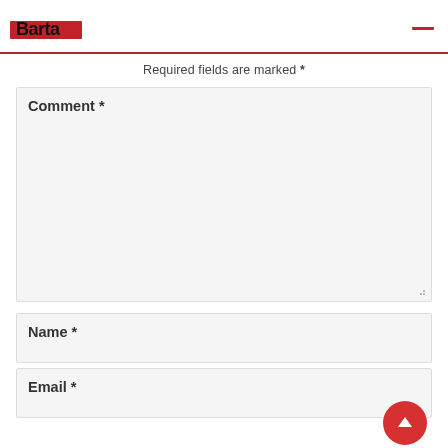Barta News & Magazine
Required fields are marked *
Comment *
Name *
Email *